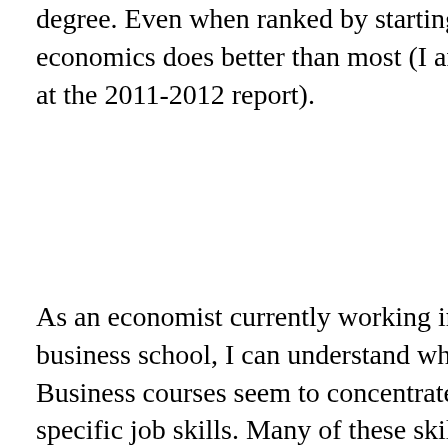degree. Even when ranked by starting salary, economics does better than most (I am looking at the 2011-2012 report).
As an economist currently working in a business school, I can understand why this is. Business courses seem to concentrate on specific job skills. Many of these skills will become dated after students graduate. For example, the person who teaching the accounting course in taxation here works very hard to keep it up to date with changes in tax policies. That is admirable. However, I wonder if it matters...